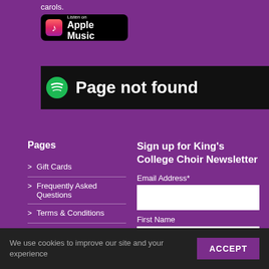carols.
[Figure (logo): Listen on Apple Music badge (black background with music note icon)]
[Figure (screenshot): Black bar with Spotify icon and text 'Page not found']
Pages
> Gift Cards
> Frequently Asked Questions
> Terms & Conditions
> Contact
Sign up for King's College Choir Newsletter
Email Address*
First Name
Last Name
We use cookies to improve our site and your experience